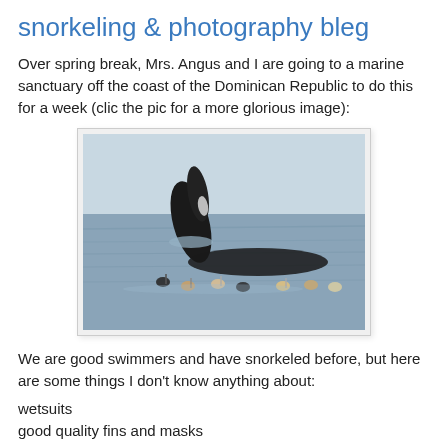snorkeling & photography bleg
Over spring break, Mrs. Angus and I are going to a marine sanctuary off the coast of the Dominican Republic to do this for a week (clic the pic for a more glorious image):
[Figure (photo): Photo of snorkelers in open ocean water alongside a surfacing whale, with swimmers visible at the surface and a whale's head/fin breaching the water.]
We are good swimmers and have snorkeled before, but here are some things I don't know anything about:
wetsuits
good quality fins and masks
underwater photography